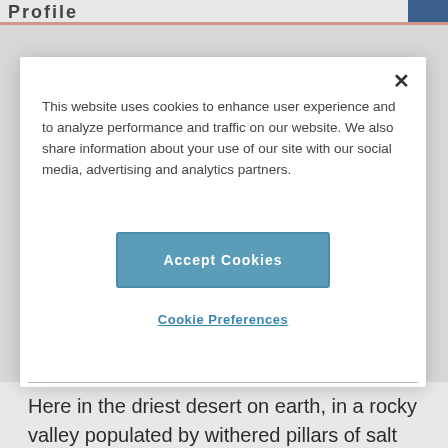Profile
This website uses cookies to enhance user experience and to analyze performance and traffic on our website. We also share information about your use of our site with our social media, advertising and analytics partners.
Accept Cookies
Cookie Preferences
Here in the driest desert on earth, in a rocky valley populated by withered pillars of salt and stone and an enormous sand dune that